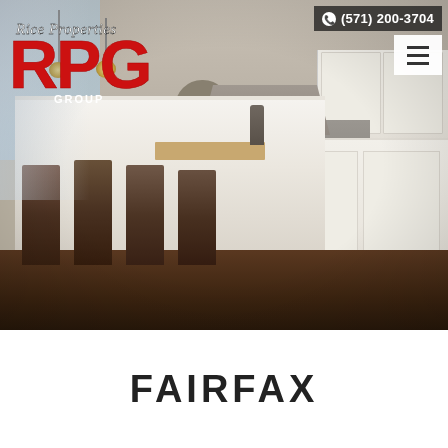[Figure (photo): Hero image of a modern luxury kitchen with white cabinets, large island with white countertop, four dark wooden bar stools, dark wood-look tile floor, and decorative pendant lights. RPG (Rice Properties Group) logo overlaid top left, phone number (571) 200-3704 and hamburger menu top right.]
FAIRFAX